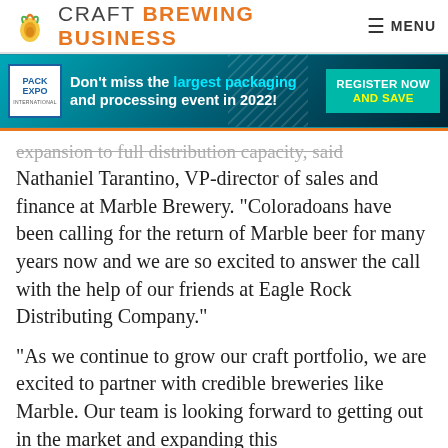CRAFT BREWING BUSINESS
[Figure (infographic): Advertisement banner: Pack Expo International - Don't miss the largest packaging and processing event in 2022! Register Now and Save.]
Nathaniel Tarantino, VP-director of sales and finance at Marble Brewery. “Coloradoans have been calling for the return of Marble beer for many years now and we are so excited to answer the call with the help of our friends at Eagle Rock Distributing Company.”
“As we continue to grow our craft portfolio, we are excited to partner with credible breweries like Marble. Our team is looking forward to getting out in the market and expanding this